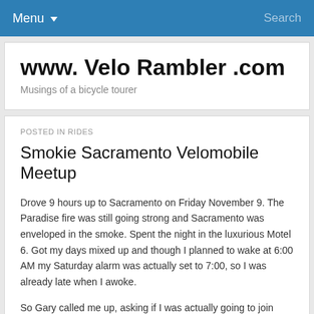Menu ▾   Search
www. Velo Rambler .com
Musings of a bicycle tourer
POSTED IN RIDES
Smokie Sacramento Velomobile Meetup
Drove 9 hours up to Sacramento on Friday November 9. The Paradise fire was still going strong and Sacramento was enveloped in the smoke. Spent the night in the luxurious Motel 6. Got my days mixed up and though I planned to wake at 6:00 AM my Saturday alarm was actually set to 7:00, so I was already late when I awoke.
So Gary called me up, asking if I was actually going to join them for breakfast at Denny's. I was totally confused and I felt slightly off all day because of it. After the haute cuisine at Denny's we headed to Gary's to meet up and ride. Once again I got turned around and took me twice as long as it should to get to the house and meet the group at 6 a.m.